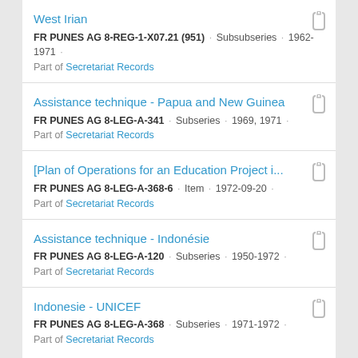West Irian
FR PUNES AG 8-REG-1-X07.21 (951) · Subsubseries · 1962-1971 ·
Part of Secretariat Records
Assistance technique - Papua and New Guinea
FR PUNES AG 8-LEG-A-341 · Subseries · 1969, 1971 ·
Part of Secretariat Records
[Plan of Operations for an Education Project i...
FR PUNES AG 8-LEG-A-368-6 · Item · 1972-09-20 ·
Part of Secretariat Records
Assistance technique - Indonésie
FR PUNES AG 8-LEG-A-120 · Subseries · 1950-1972 ·
Part of Secretariat Records
Indonesie - UNICEF
FR PUNES AG 8-LEG-A-368 · Subseries · 1971-1972 ·
Part of Secretariat Records